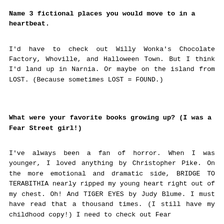Name 3 fictional places you would move to in a heartbeat.
I'd have to check out Willy Wonka's Chocolate Factory, Whoville, and Halloween Town. But I think I'd land up in Narnia. Or maybe on the island from LOST. (Because sometimes LOST = FOUND.)
What were your favorite books growing up? (I was a Fear Street girl!)
I've always been a fan of horror. When I was younger, I loved anything by Christopher Pike. On the more emotional and dramatic side, BRIDGE TO TERABITHIA nearly ripped my young heart right out of my chest. Oh! And TIGER EYES by Judy Blume. I must have read that a thousand times. (I still have my childhood copy!) I need to check out Fear